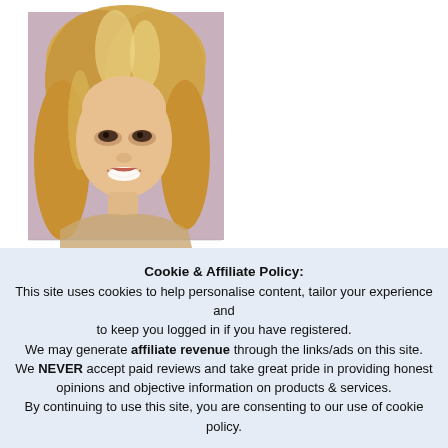[Figure (photo): Portrait photo of a smiling blonde woman with layered hair, pink/mauve background]
Cookie & Affiliate Policy:
This site uses cookies to help personalise content, tailor your experience and to keep you logged in if you have registered.
We may generate affiliate revenue through the links/ads on this site.
We NEVER accept paid reviews and take great pride in providing honest opinions and objective information on products & services.
By continuing to use this site, you are consenting to our use of cookie policy.